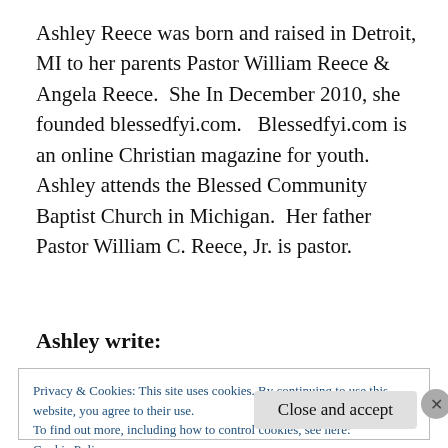Ashley Reece was born and raised in Detroit, MI to her parents Pastor William Reece & Angela Reece.  She In December 2010, she founded blessedfyi.com.   Blessedfyi.com is an online Christian magazine for youth.  Ashley attends the Blessed Community Baptist Church in Michigan.  Her father Pastor William C. Reece, Jr. is pastor.
Ashley write:
Privacy & Cookies: This site uses cookies. By continuing to use this website, you agree to their use.
To find out more, including how to control cookies, see here:
Cookie Policy
Close and accept